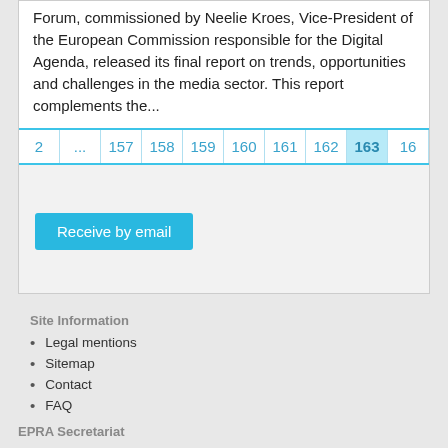Forum, commissioned by Neelie Kroes, Vice-President of the European Commission responsible for the Digital Agenda, released its final report on trends, opportunities and challenges in the media sector. This report complements the...
| 2 | ... | 157 | 158 | 159 | 160 | 161 | 162 | 163 | 16 |
| --- | --- | --- | --- | --- | --- | --- | --- | --- | --- |
Receive by email
Site Information
Legal mentions
Sitemap
Contact
FAQ
EPRA Secretariat